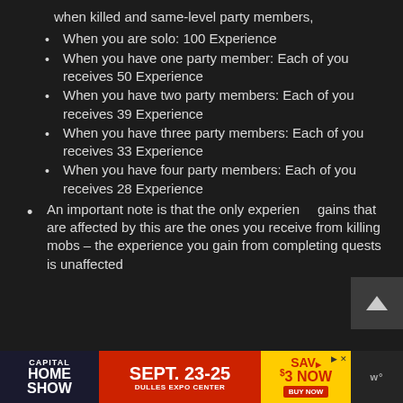when killed and same-level party members,
When you are solo: 100 Experience
When you have one party member: Each of you receives 50 Experience
When you have two party members: Each of you receives 39 Experience
When you have three party members: Each of you receives 33 Experience
When you have four party members: Each of you receives 28 Experience
An important note is that the only experience gains that are affected by this are the ones you receive from killing mobs – the experience you gain from completing quests is unaffected